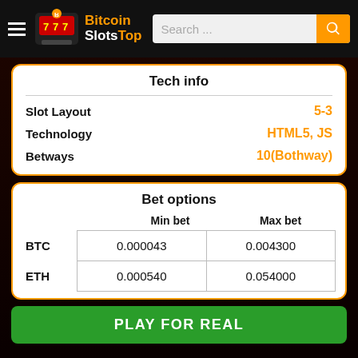BitcoinSlotsTop
Tech info
|  |  |
| --- | --- |
| Slot Layout | 5-3 |
| Technology | HTML5, JS |
| Betways | 10(Bothway) |
Bet options
|  | Min bet | Max bet |
| --- | --- | --- |
| BTC | 0.000043 | 0.004300 |
| ETH | 0.000540 | 0.054000 |
PLAY FOR REAL